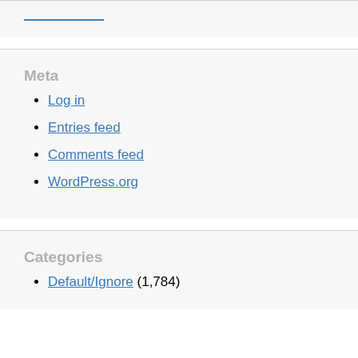Log in
Meta
Log in
Entries feed
Comments feed
WordPress.org
Categories
Default/Ignore (1,784)